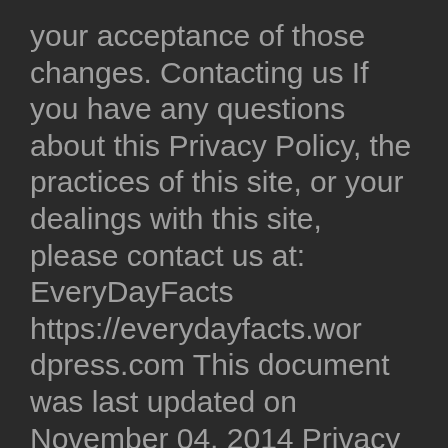your acceptance of those changes. Contacting us If you have any questions about this Privacy Policy, the practices of this site, or your dealings with this site, please contact us at: EveryDayFacts https://everydayfacts.wordpress.com This document was last updated on November 04, 2014 Privacy policy created by http://www.generateprivacypolicy.com